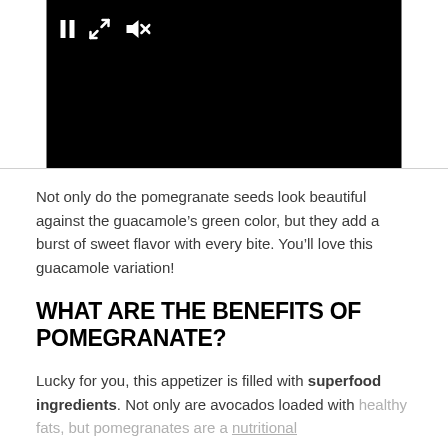[Figure (screenshot): A video player with black background showing media controls: pause button (two vertical bars), expand/fullscreen icon (diagonal arrows), and mute icon (speaker with X).]
Not only do the pomegranate seeds look beautiful against the guacamole’s green color, but they add a burst of sweet flavor with every bite. You’ll love this guacamole variation!
WHAT ARE THE BENEFITS OF POMEGRANATE?
Lucky for you, this appetizer is filled with superfood ingredients. Not only are avocados loaded with healthy fats, but pomegranates are a nutritional